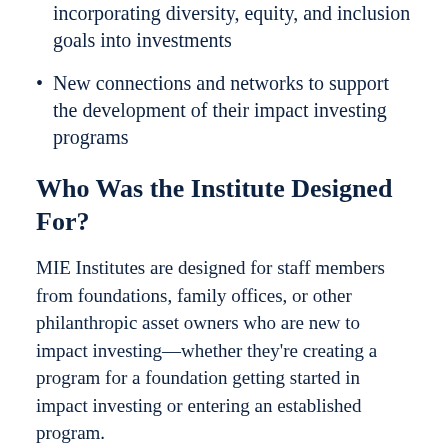incorporating diversity, equity, and inclusion goals into investments
New connections and networks to support the development of their impact investing programs
Who Was the Institute Designed For?
MIE Institutes are designed for staff members from foundations, family offices, or other philanthropic asset owners who are new to impact investing—whether they're creating a program for a foundation getting started in impact investing or entering an established program.
Questions or Interested in